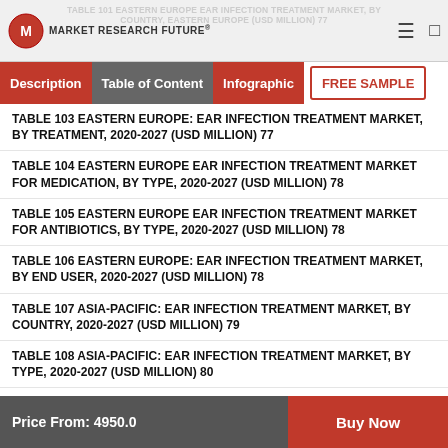Market Research Future
TABLE 103 EASTERN EUROPE: EAR INFECTION TREATMENT MARKET, BY TREATMENT, 2020-2027 (USD MILLION) 77
TABLE 104 EASTERN EUROPE EAR INFECTION TREATMENT MARKET FOR MEDICATION, BY TYPE, 2020-2027 (USD MILLION) 78
TABLE 105 EASTERN EUROPE EAR INFECTION TREATMENT MARKET FOR ANTIBIOTICS, BY TYPE, 2020-2027 (USD MILLION) 78
TABLE 106 EASTERN EUROPE: EAR INFECTION TREATMENT MARKET, BY END USER, 2020-2027 (USD MILLION) 78
TABLE 107 ASIA-PACIFIC: EAR INFECTION TREATMENT MARKET, BY COUNTRY, 2020-2027 (USD MILLION) 79
TABLE 108 ASIA-PACIFIC: EAR INFECTION TREATMENT MARKET, BY TYPE, 2020-2027 (USD MILLION) 80
TABLE 109 ASIA-PACIFIC: EAR INFECTION TREATMENT MARKET, BY PATHOGEN, 2020-2027 (USD MILLION) 80
TABLE 110 ASIA-PACIFIC: EAR INFECTION TREATMENT MARKET, BY TREATMENT, 2020-2027 (USD MILLION) 80
TABLE 111 ASIA-PACIFIC EAR INFECTION TREATMENT MARKET FOR MEDICATION, BY TYPE, 2020-2027 (USD MILLION) 81
TABLE 112 ASIA-PACIFIC EAR INFECTION TREATMENT MARKET FOR ANTIBIOTICS, BY TYPE, 2020-2027 (USD MILLION) 81
TABLE 113 ASIA-PACIFIC: EAR INFECTION TREATMENT MARKET, BY END USER, 2020-2027 (USD MILLION)
Price From: 4950.0  Buy Now